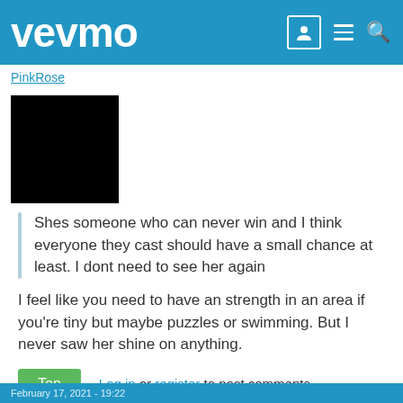vevmo
PinkRose
[Figure (photo): Black square representing a redacted/placeholder avatar image]
Shes someone who can never win and I think everyone they cast should have a small chance at least. I dont need to see her again
I feel like you need to have an strength in an area if you're tiny but maybe puzzles or swimming. But I never saw her shine on anything.
Top   Log in or register to post comments